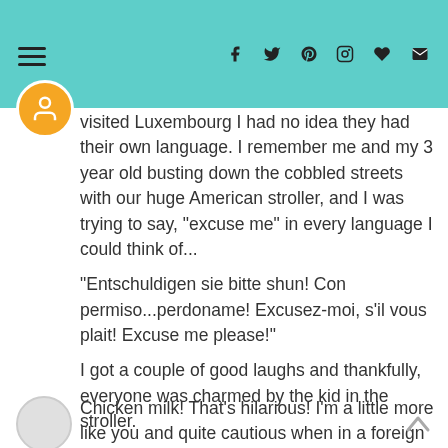Navigation header with hamburger menu and social icons
visited Luxembourg I had no idea they had their own language. I remember me and my 3 year old busting down the cobbled streets with our huge American stroller, and I was trying to say, "excuse me" in every language I could think of...

"Entschuldigen sie bitte shun! Con permiso...perdoname! Excusez-moi, s'il vous plait! Excuse me please!"

I got a couple of good laughs and thankfully, everyone was charmed by the kid in the stroller.
September 13, 2014 at 9:19 AM
Sarah said...
Chicken milk! That's hilarious! I'm a little more like you and quite cautious when in a foreign country attempting to use their native language. My parents lived in the middle east